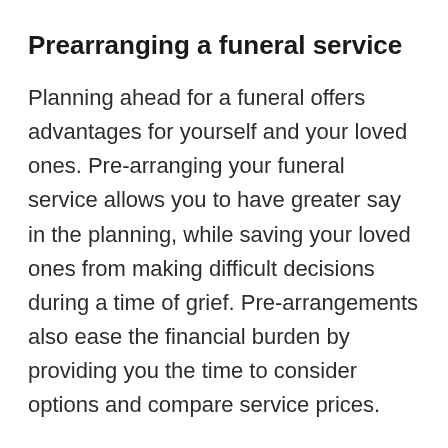Prearranging a funeral service
Planning ahead for a funeral offers advantages for yourself and your loved ones. Pre-arranging your funeral service allows you to have greater say in the planning, while saving your loved ones from making difficult decisions during a time of grief. Pre-arrangements also ease the financial burden by providing you the time to consider options and compare service prices.
When looking for a pre-arranged plan, ask the following questions...